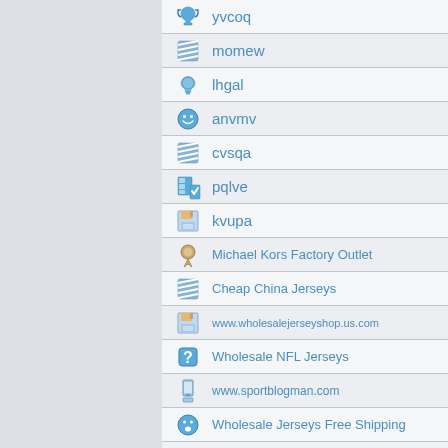yvcoq
momew
lhgal
anvmv
cvsqa
pqlve
kvupa
Michael Kors Factory Outlet
Cheap China Jerseys
www.wholesalejerseyshop.us.com
Wholesale NFL Jerseys
www.sportblogman.com
Wholesale Jerseys Free Shipping